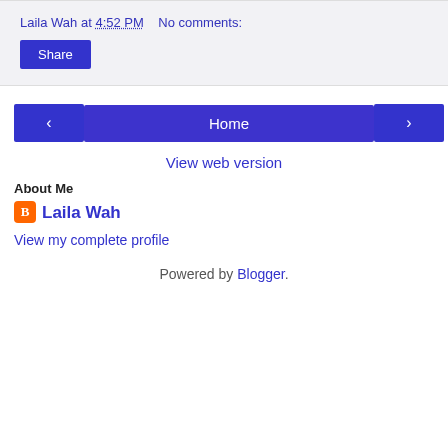Laila Wah at 4:52 PM    No comments:
Share
‹
Home
›
View web version
About Me
Laila Wah
View my complete profile
Powered by Blogger.